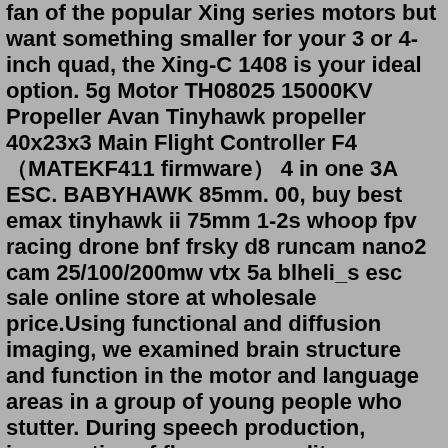fan of the popular Xing series motors but want something smaller for your 3 or 4-inch quad, the Xing-C 1408 is your ideal option. 5g Motor TH08025 15000KV Propeller Avan Tinyhawk propeller 40x23x3 Main Flight Controller F4（MATEKF411 firmware） 4 in one 3A ESC. BABYHAWK 85mm. 00, buy best emax tinyhawk ii 75mm 1-2s whoop fpv racing drone bnf frsky d8 runcam nano2 cam 25/100/200mw vtx 5a blheli_s esc sale online store at wholesale price.Using functional and diffusion imaging, we examined brain structure and function in the motor and language areas in a group of young people who stutter. During speech production, irrespective of fluency or auditory feedback, the people who stuttered showed overactivity relative to controls in the anterior insula, cerebellum and midbrain ... ESC/Motor Combos Motors & ESC's FPV Racing. Search within ESC/Motor Combos. Sort By: Showing 1 to 2 of 2 Products. 7 Reviews. $104.99. Feb 02, 2021 · The stuttering may come and go. For most children, stuttering stops by the time they're 5 years old. But